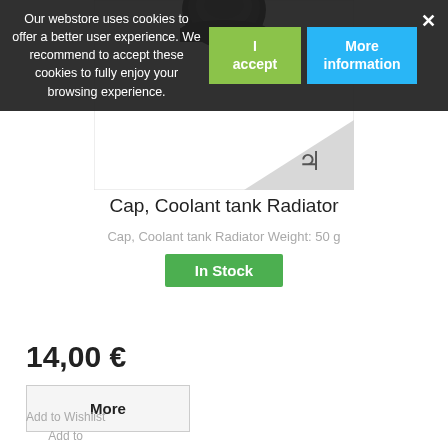Our webstore uses cookies to offer a better user experience. We recommend to accept these cookies to fully enjoy your browsing experience.
[Figure (photo): Product image of a Cap, Coolant tank Radiator - black circular cap partially visible at top, with a watermark eye icon on a grey/white background]
Cap, Coolant tank Radiator
Cap, Coolant tank Radiator Weight: 50 g
In Stock
14,00 €
More
Add to Wishlist
Add to Compare